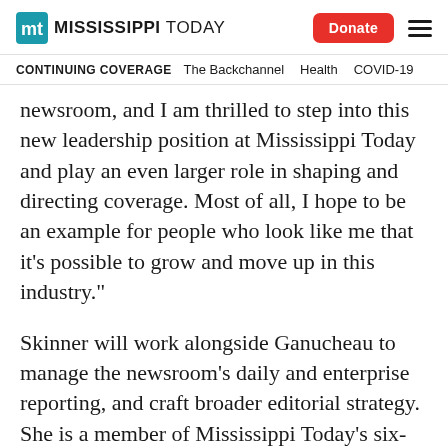Mississippi Today | Donate
CONTINUING COVERAGE  The Backchannel  Health  COVID-19
newsroom, and I am thrilled to step into this new leadership position at Mississippi Today and play an even larger role in shaping and directing coverage. Most of all, I hope to be an example for people who look like me that it’s possible to grow and move up in this industry.”
Skinner will work alongside Ganucheau to manage the newsroom’s daily and enterprise reporting, and craft broader editorial strategy. She is a member of Mississippi Today’s six-person management team where she plays a key role in organizational